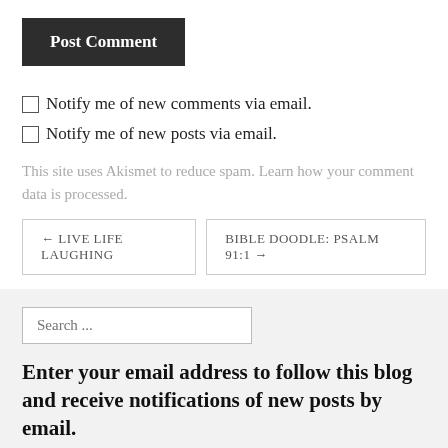[Figure (screenshot): Post Comment button — dark background with white bold text]
Notify me of new comments via email.
Notify me of new posts via email.
This site uses Akismet to reduce spam. Learn how your comment data is processed.
← LIVE LIFE LAUGHING
BIBLE DOODLE: PSALM 91:1 →
Search ...
Enter your email address to follow this blog and receive notifications of new posts by email.
Enter your email address to follow this blog and receive notifications of new posts by email.